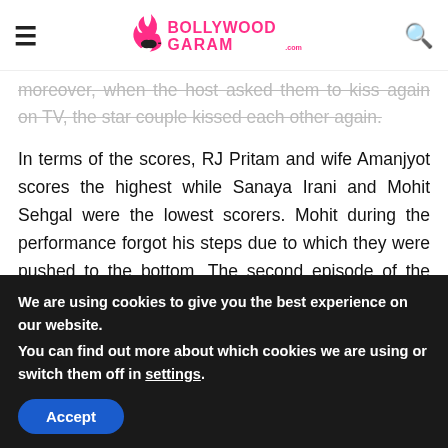Bollywood Garam
moreover, when the host asked them to kiss again on TV, the star couple kissed each other again.
In terms of the scores, RJ Pritam and wife Amanjyot scores the highest while Sanaya Irani and Mohit Sehgal were the lowest scorers. Mohit during the performance forgot his steps due to which they were pushed to the bottom. The second episode of the season will air on April 8, 2017 at 8 PM on Star Plus.
We are using cookies to give you the best experience on our website.
You can find out more about which cookies we are using or switch them off in settings.